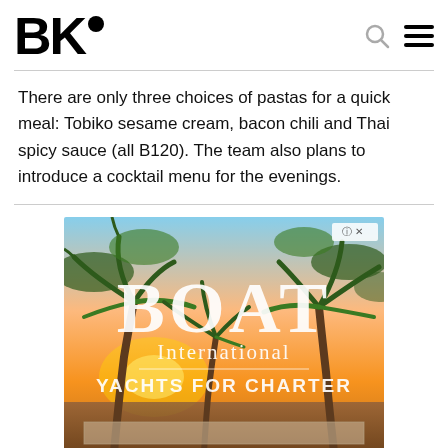BK•
There are only three choices of pastas for a quick meal: Tobiko sesame cream, bacon chili and Thai spicy sauce (all B120). The team also plans to introduce a cocktail menu for the evenings.
[Figure (photo): Advertisement for Boat International Yachts for Charter featuring a tropical beach scene with palm trees and sunset]